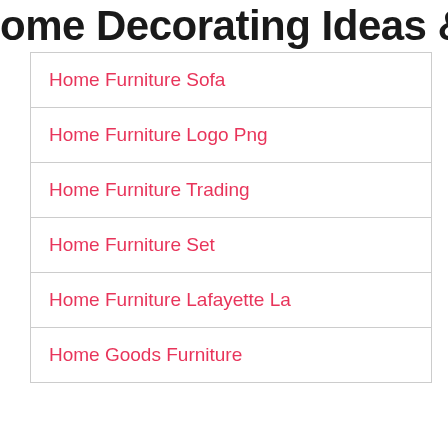Home Decorating Ideas & Interior Des…
Home Furniture Sofa
Home Furniture Logo Png
Home Furniture Trading
Home Furniture Set
Home Furniture Lafayette La
Home Goods Furniture